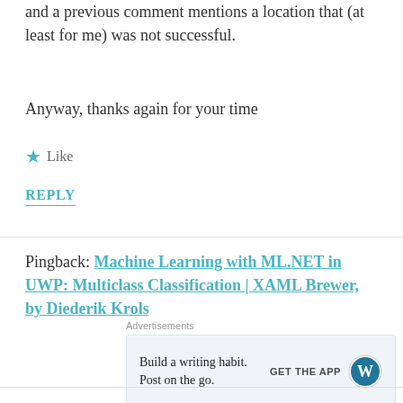and a previous comment mentions a location that (at least for me) was not successful.
Anyway, thanks again for your time
★ Like
REPLY
Pingback: Machine Learning with ML.NET in UWP: Multiclass Classification | XAML Brewer, by Diederik Krols
[Figure (other): WordPress advertisement banner: 'Build a writing habit. Post on the go.' with GET THE APP button and WordPress logo]
REPORT THIS AD